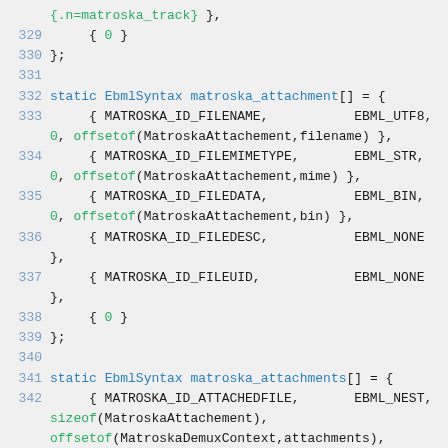[Figure (screenshot): Source code snippet showing C code for matroska_attachment and matroska_attachments EbmlSyntax arrays, lines 329-344]